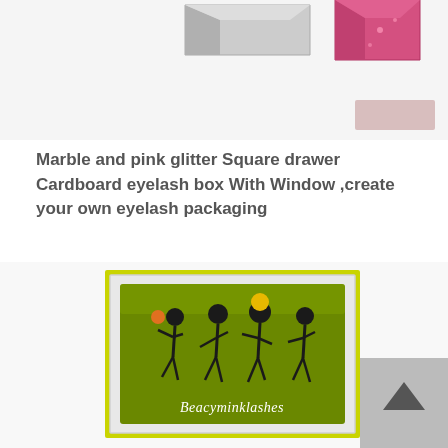[Figure (photo): Partial view of marble gray and pink glitter square drawer cardboard eyelash box product images at the top of the page]
Marble and pink glitter Square drawer Cardboard eyelash box With Window ,create your own eyelash packaging
[Figure (photo): Lime green eyelash packaging box with window showing dancing skeleton figures and Beacyminklashes brand text, with a scroll-to-top button visible in bottom right]